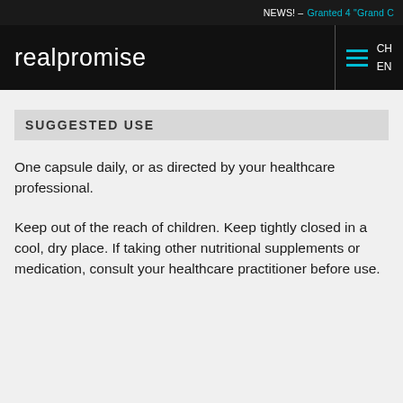NEWS! – Granted 4 "Grand C
realpromise  CH  EN
SUGGESTED USE
One capsule daily, or as directed by your healthcare professional.
Keep out of the reach of children. Keep tightly closed in a cool, dry place. If taking other nutritional supplements or medication, consult your healthcare practitioner before use.